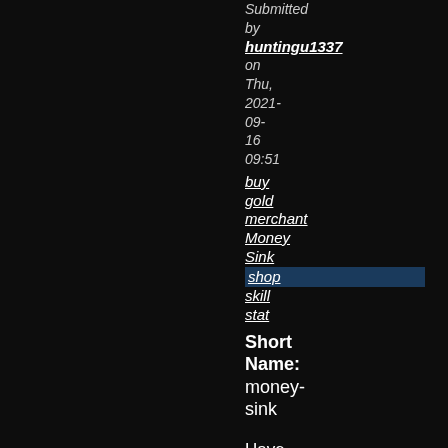Submitted by huntingu1337 on Thu, 2021-09-16 09:51
buy gold
merchant
Money Sink
shop
skill
stat
Short Name: money-sink
Have extra cash? Blow it on